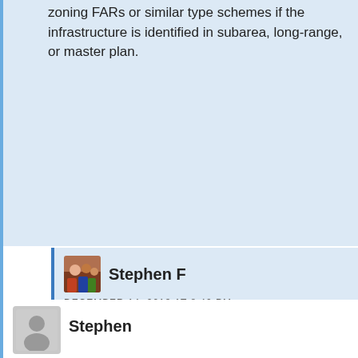zoning FARs or similar type schemes if the infrastructure is identified in subarea, long-range, or master plan.
[Figure (photo): Avatar/profile photo of commenter Stephen F, showing a group of people]
Stephen F
DECEMBER 14, 2013 AT 8:40 PM
*scratch that “not at a less-that 1:1 ratio”. Meant that the credits should be $1 for every $1 spent by the private actor, it should be less than that.
[Figure (illustration): Generic grey silhouette avatar placeholder for a commenter]
Stephen